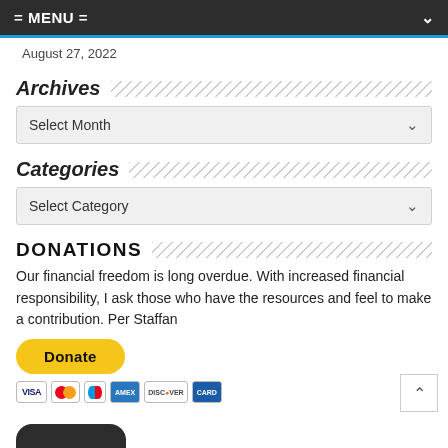= MENU =
August 27, 2022
Archives
Select Month
Categories
Select Category
DONATIONS
Our financial freedom is long overdue. With increased financial responsibility, I ask those who have the resources and feel to make a contribution. Per Staffan
[Figure (other): PayPal Donate button (yellow rounded rectangle) with payment icons: Visa, Mastercard, Maestro, American Express, Discover, and another card brand.]